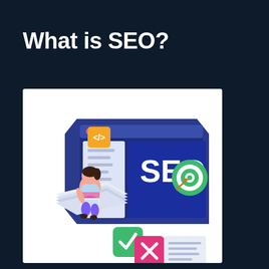What is SEO?
[Figure (illustration): Isometric SEO illustration showing a person sitting on stacked papers using a laptop, next to a large monitor displaying 'SEO' text with a target/bullseye icon, a code tag icon (</>) in orange, green checkmark button, and pink X button in the foreground.]